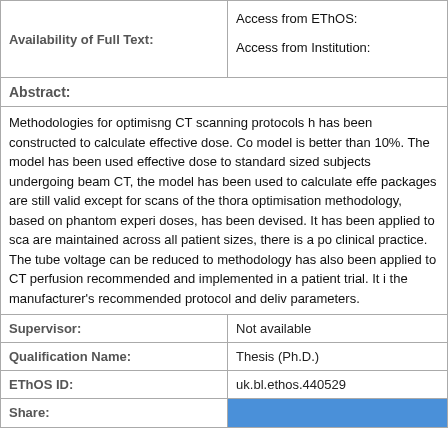| Availability of Full Text: |  |
| --- | --- |
| Availability of Full Text: | Access from EThOS:
Access from Institution: |
Abstract:
Methodologies for optimisng CT scanning protocols h... has been constructed to calculate effective dose. Co... model is better than 10%. The model has been used ... effective dose to standard sized subjects undergoing... beam CT, the model has been used to calculate effe... packages are still valid except for scans of the thora... optimisation methodology, based on phantom experi... doses, has been devised. It has been applied to sca... are maintained across all patient sizes, there is a po... clinical practice. The tube voltage can be reduced to... methodology has also been applied to CT perfusion... recommended and implemented in a patient trial. It i... the manufacturer's recommended protocol and deliv... parameters.
| Supervisor: | Not available |
| --- | --- |
| Supervisor: | Not available |
| Qualification Name: | Thesis (Ph.D.) |
| EThOS ID: | uk.bl.ethos.440529 |
| Share: |  |